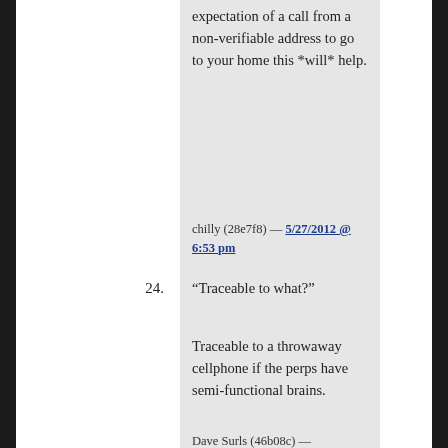expectation of a call from a non-verifiable address to go to your home this *will* help.
chilly (28e7f8) — 5/27/2012 @ 6:53 pm
24. “Traceable to what?”
Traceable to a throwaway cellphone if the perps have semi-functional brains.
Dave Surls (46b08c) —